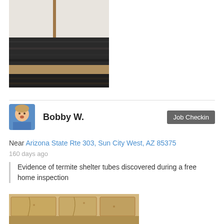[Figure (photo): Close-up photo of termite shelter tubes on a wall surface, showing layers of dark soil and white stucco material with a brown mud tube running vertically]
Bobby W.
Job Checkin
Near Arizona State Rte 303, Sun City West, AZ 85375
160 days ago
Evidence of termite shelter tubes discovered during a free home inspection
[Figure (photo): Close-up photo of termite damage on a brick or concrete wall showing mud tubes and soil deposits along the surface]